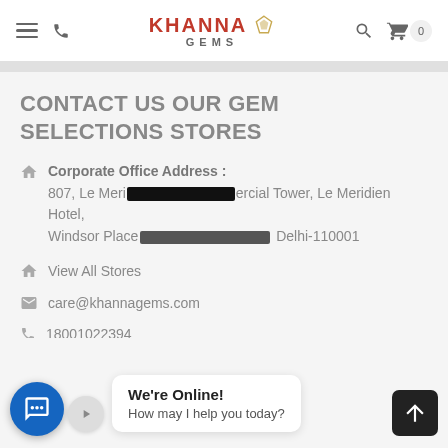Khanna Gems - Navigation Bar
CONTACT US OUR GEM SELECTIONS STORES
Corporate Office Address : 807, Le Meridien Commercial Tower, Le Meridien Hotel, Windsor Place, Janpath, New Delhi-110001
View All Stores
care@khannagems.com
18001022394
We're Online! How may I help you today?